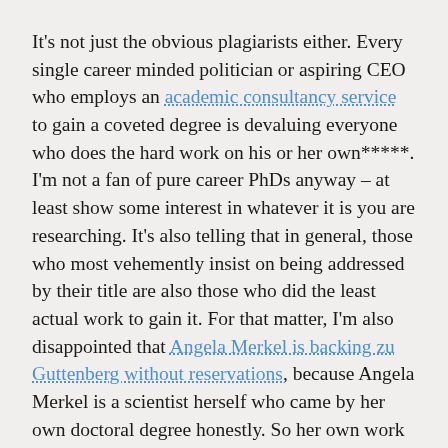It's not just the obvious plagiarists either. Every single career minded politician or aspiring CEO who employs an academic consultancy service to gain a coveted degree is devaluing everyone who does the hard work on his or her own*****. I'm not a fan of pure career PhDs anyway – at least show some interest in whatever it is you are researching. It's also telling that in general, those who most vehemently insist on being addressed by their title are also those who did the least actual work to gain it. For that matter, I'm also disappointed that Angela Merkel is backing zu Guttenberg without reservations, because Angela Merkel is a scientist herself who came by her own doctoral degree honestly. So her own work is being devalued too.
What is more, this case isn't about politics, it is about